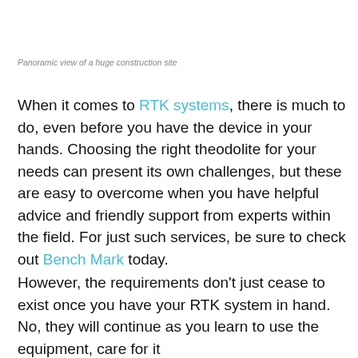Panoramic view of a huge construction site
When it comes to RTK systems, there is much to do, even before you have the device in your hands. Choosing the right theodolite for your needs can present its own challenges, but these are easy to overcome when you have helpful advice and friendly support from experts within the field. For just such services, be sure to check out Bench Mark today.
However, the requirements don't just cease to exist once you have your RTK system in hand. No, they will continue as you learn to use the equipment, care for it